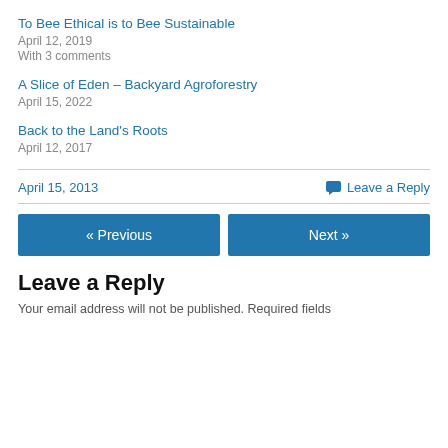To Bee Ethical is to Bee Sustainable
April 12, 2019
With 3 comments
A Slice of Eden – Backyard Agroforestry
April 15, 2022
Back to the Land's Roots
April 12, 2017
April 15, 2013
Leave a Reply
« Previous
Next »
Leave a Reply
Your email address will not be published. Required fields